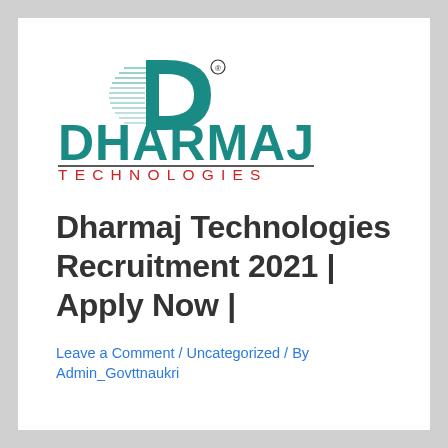[Figure (logo): Dharmaj Technologies logo — teal D letter with speed lines, company name DHARMAJ in large teal text, TECHNOLOGIES in red spaced letters, with horizontal lines above and below TECHNOLOGIES, and registered trademark symbol]
Dharmaj Technologies Recruitment 2021 | Apply Now |
Leave a Comment / Uncategorized / By Admin_Govttnaukri